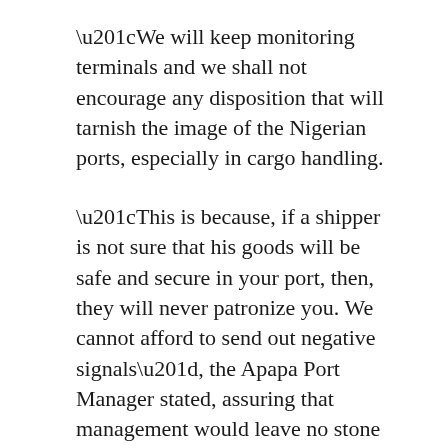“We will keep monitoring terminals and we shall not encourage any disposition that will tarnish the image of the Nigerian ports, especially in cargo handling.
“This is because, if a shipper is not sure that his goods will be safe and secure in your port, then, they will never patronize you. We cannot afford to send out negative signals”, the Apapa Port Manager stated, assuring that management would leave no stone unturned, to ensure that every awkward situation is redressed, especially from every terminal, that may probably be lagging behind.
In spite of the assurances, which include